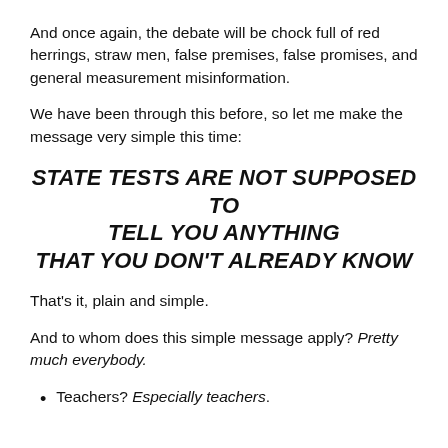And once again, the debate will be chock full of red herrings, straw men, false premises, false promises, and general measurement misinformation.
We have been through this before, so let me make the message very simple this time:
STATE TESTS ARE NOT SUPPOSED TO TELL YOU ANYTHING THAT YOU DON'T ALREADY KNOW
That's it, plain and simple.
And to whom does this simple message apply? Pretty much everybody.
Teachers? Especially teachers.